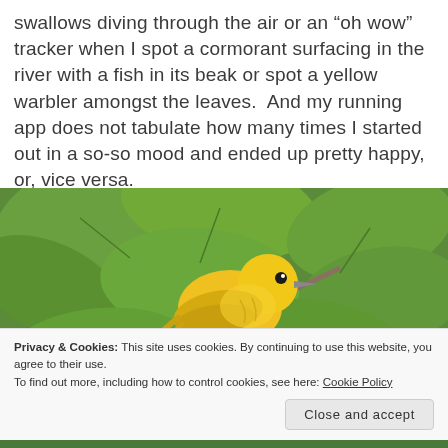swallows diving through the air or an “oh wow” tracker when I spot a cormorant surfacing in the river with a fish in its beak or spot a yellow warbler amongst the leaves.  And my running app does not tabulate how many times I started out in a so-so mood and ended up pretty happy, or, vice versa.
[Figure (photo): Close-up photograph of a yellow warbler bird perched among green leaves. The bird has bright yellow plumage and a small dark eye and beak, surrounded by large green foliage.]
Privacy & Cookies: This site uses cookies. By continuing to use this website, you agree to their use.
To find out more, including how to control cookies, see here: Cookie Policy
Close and accept